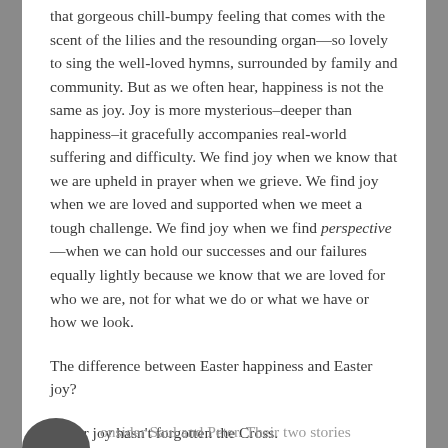that gorgeous chill-bumpy feeling that comes with the scent of the lilies and the resounding organ—so lovely to sing the well-loved hymns, surrounded by family and community. But as we often hear, happiness is not the same as joy. Joy is more mysterious–deeper than happiness–it gracefully accompanies real-world suffering and difficulty. We find joy when we know that we are upheld in prayer when we grieve. We find joy when we are loved and supported when we meet a tough challenge. We find joy when we find perspective—when we can hold our successes and our failures equally lightly because we know that we are loved for who we are, not for what we do or what we have or how we look.
The difference between Easter happiness and Easter joy?
Easter joy hasn't forgotten the Cross.
onsider Saul and Peter. Their two stories